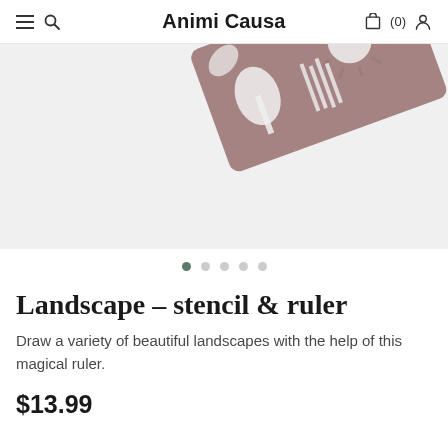Animi Causa
[Figure (photo): Diagonal stacked laser-cut wooden stencil/ruler pieces with landscape cutout patterns including palm trees, sun rays, and floral designs, on a light grey background]
Landscape – stencil & ruler
Draw a variety of beautiful landscapes with the help of this magical ruler.
$13.99